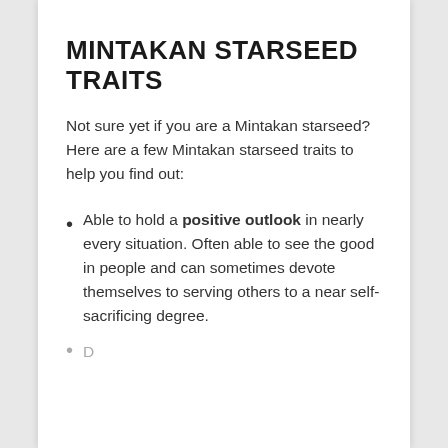MINTAKAN STARSEED TRAITS
Not sure yet if you are a Mintakan starseed? Here are a few Mintakan starseed traits to help you find out:
Able to hold a positive outlook in nearly every situation. Often able to see the good in people and can sometimes devote themselves to serving others to a near self-sacrificing degree.